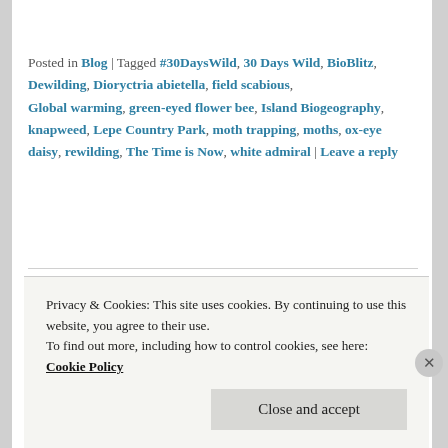Posted in Blog | Tagged #30DaysWild, 30 Days Wild, BioBlitz, Dewilding, Dioryctria abietella, field scabious, Global warming, green-eyed flower bee, Island Biogeography, knapweed, Lepe Country Park, moth trapping, moths, ox-eye daisy, rewilding, The Time is Now, white admiral | Leave a reply
30 Days Wild – Day 29
Posted on June 30, 2019 by robertc2011
A day off in the heat, I spent much of it in the garden,
Privacy & Cookies: This site uses cookies. By continuing to use this website, you agree to their use. To find out more, including how to control cookies, see here: Cookie Policy